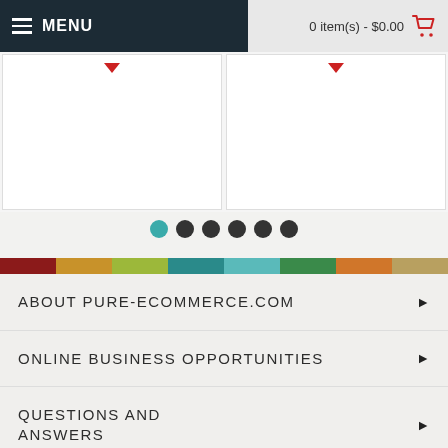MENU | 0 item(s) - $0.00
[Figure (screenshot): Partial view of two product cards with red downward arrows, from an e-commerce website carousel]
[Figure (other): Carousel navigation dots: one teal/active dot followed by five dark dots]
[Figure (other): Decorative horizontal color stripe with segments: dark red, gold, yellow-green, teal, light teal, green, tan/orange, tan]
ABOUT PURE-ECOMMERCE.COM
ONLINE BUSINESS OPPORTUNITIES
QUESTIONS AND ANSWERS
HELPFUL EBOOKS